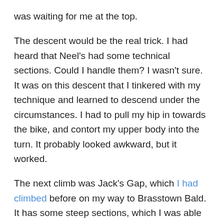was waiting for me at the top.
The descent would be the real trick. I had heard that Neel's had some technical sections. Could I handle them? I wasn't sure. It was on this descent that I tinkered with my technique and learned to descend under the circumstances. I had to pull my hip in towards the bike, and contort my upper body into the turn. It probably looked awkward, but it worked.
The next climb was Jack's Gap, which I had climbed before on my way to Brasstown Bald. It has some steep sections, which I was able to stand up and get over. The rest was rolling and not a problem. There was occasional pain, but I could deal with it. It was nice to reach the entrance to Brasstown Bald, look at the steep road up, and head past it.